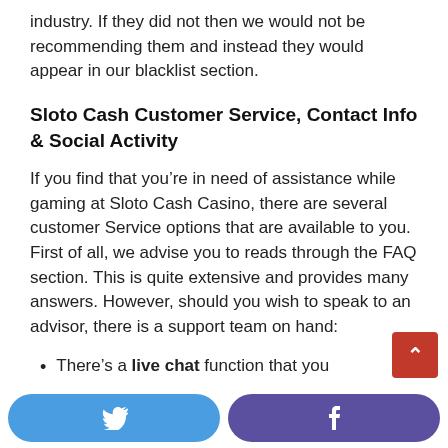industry. If they did not then we would not be recommending them and instead they would appear in our blacklist section.
Sloto Cash Customer Service, Contact Info & Social Activity
If you find that you’re in need of assistance while gaming at Sloto Cash Casino, there are several customer Service options that are available to you. First of all, we advise you to reads through the FAQ section. This is quite extensive and provides many answers. However, should you wish to speak to an advisor, there is a support team on hand:
There’s a live chat function that you